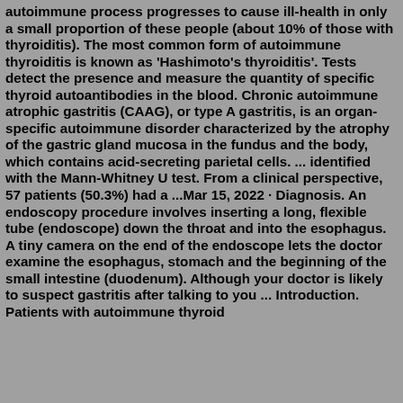autoimmune process progresses to cause ill-health in only a small proportion of these people (about 10% of those with thyroiditis). The most common form of autoimmune thyroiditis is known as 'Hashimoto's thyroiditis'. Tests detect the presence and measure the quantity of specific thyroid autoantibodies in the blood. Chronic autoimmune atrophic gastritis (CAAG), or type A gastritis, is an organ-specific autoimmune disorder characterized by the atrophy of the gastric gland mucosa in the fundus and the body, which contains acid-secreting parietal cells. ... identified with the Mann-Whitney U test. From a clinical perspective, 57 patients (50.3%) had a ...Mar 15, 2022 · Diagnosis. An endoscopy procedure involves inserting a long, flexible tube (endoscope) down the throat and into the esophagus. A tiny camera on the end of the endoscope lets the doctor examine the esophagus, stomach and the beginning of the small intestine (duodenum). Although your doctor is likely to suspect gastritis after talking to you ... Introduction. Patients with autoimmune thyroid